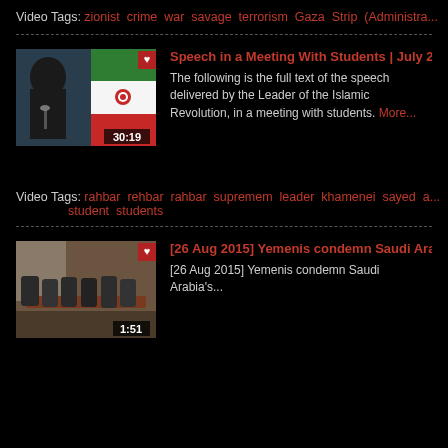Video Tags: zionist crime war savage terrorism Gaza Strip (Administra...
[Figure (screenshot): Video thumbnail showing a cleric speaking at a podium with an Iranian flag in the background, duration 30:19]
Speech in a Meeting With Students | July 23, ...
The following is the full text of the speech delivered by the Leader of the Islamic Revolution, in a meeting with students. More...
Video Tags: rahbar rehbar rahbar supremem leader khamenei sayed a... student students
[Figure (screenshot): Video thumbnail showing a meeting room with people seated around a table, duration 1:51]
[26 Aug 2015] Yemenis condemn Saudi Arabia...
[26 Aug 2015] Yemenis condemn Saudi Arabia's...